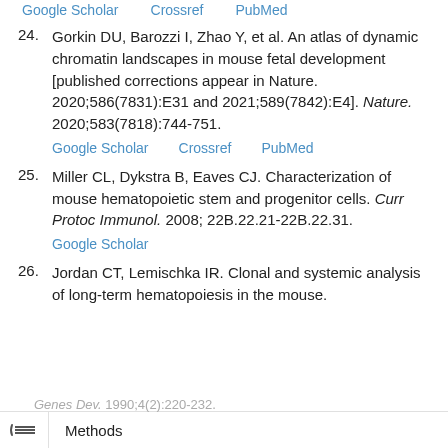Google Scholar   Crossref   PubMed
24. Gorkin DU, Barozzi I, Zhao Y, et al. An atlas of dynamic chromatin landscapes in mouse fetal development [published corrections appear in Nature. 2020;586(7831):E31 and 2021;589(7842):E4]. Nature. 2020;583(7818):744-751.
Google Scholar   Crossref   PubMed
25. Miller CL, Dykstra B, Eaves CJ. Characterization of mouse hematopoietic stem and progenitor cells. Curr Protoc Immunol. 2008; 22B.22.21-22B.22.31.
Google Scholar
26. Jordan CT, Lemischka IR. Clonal and systemic analysis of long-term hematopoiesis in the mouse.
Genes Dev. 1990;4(2):220-232.   Methods